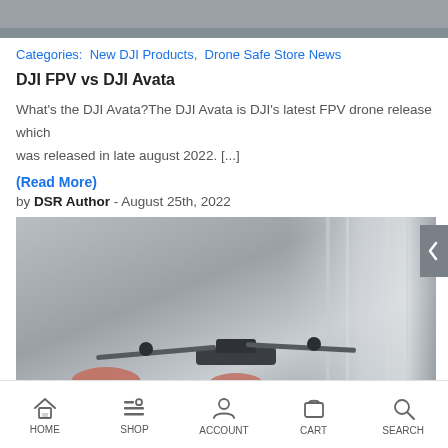[Figure (photo): Top portion of a drone product image, gray background]
Categories:  New DJI Products,  Drone Safe Store News
DJI FPV vs DJI Avata
What's the DJI Avata?The DJI Avata is DJI's latest FPV drone release which was released in late august 2022. [...]
(Read More)
by DSR Author - August 25th, 2022
[Figure (photo): DJI drone flying indoors, gray curtain background, bottom portion visible]
HOME  SHOP  ACCOUNT  CART  SEARCH